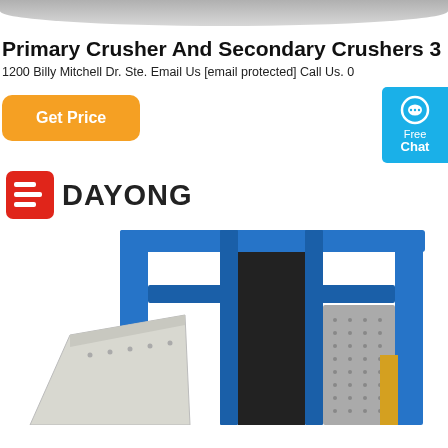[Figure (photo): Gray decorative top bar element, curved bottom edge.]
Primary Crusher And Secondary Crushers 3
1200 Billy Mitchell Dr. Ste. Email Us [email protected] Call Us. 0
[Figure (other): Orange 'Get Price' button and blue 'Free Chat' widget on the right side.]
[Figure (logo): Dayong company logo with red geometric icon and bold black text 'DAYONG'.]
[Figure (photo): Industrial blue metal frame crusher machine with gray/white hopper component.]